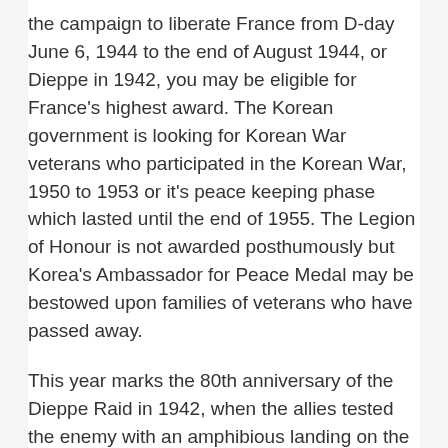the campaign to liberate France from D-day June 6, 1944 to the end of August 1944, or Dieppe in 1942, you may be eligible for France's highest award. The Korean government is looking for Korean War veterans who participated in the Korean War, 1950 to 1953 or it's peace keeping phase which lasted until the end of 1955. The Legion of Honour is not awarded posthumously but Korea's Ambassador for Peace Medal may be bestowed upon families of veterans who have passed away.
This year marks the 80th anniversary of the Dieppe Raid in 1942, when the allies tested the enemy with an amphibious landing on the French coast. Almost 5,000 Canadian soldiers took part in operation Jubilee, and only 2200 made it back.  The Normandy battle in 1944 saw the lessons learned from Dieppe put to good use but Canadian war dead tallied over 5,000. The Korean War followed 5 years after the end the Second World War. Today it is seldom remembered but the valor of our Canadian veterans shines brightly with the people of South Korea who have not forgotten the 516 Canadian